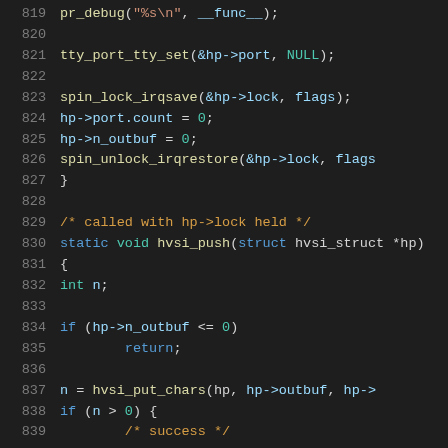Source code listing lines 819-839, showing C kernel driver code for hvsi (hypervisor serial interface). Includes spin_lock/unlock, tty_port_tty_set calls, and hvsi_push function definition.